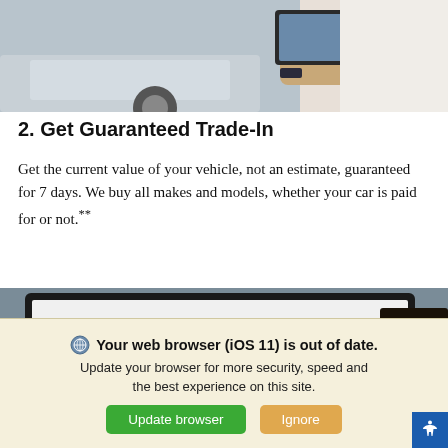[Figure (photo): Close-up photo of hands holding a tablet near a silver car, person wearing a watch and white shirt]
2. Get Guaranteed Trade-In
Get the current value of your vehicle, not an estimate, guaranteed for 7 days. We buy all makes and models, whether your car is paid for or not.**
[Figure (screenshot): Screenshot of a Nissan website showing a Payment Calculator section with a man wearing glasses visible on the screen]
Your web browser (iOS 11) is out of date. Update your browser for more security, speed and the best experience on this site.